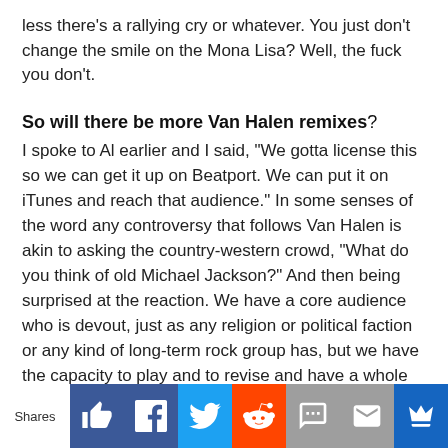less there's a rallying cry or whatever. You just don't change the smile on the Mona Lisa? Well, the fuck you don't.
So will there be more Van Halen remixes?
I spoke to Al earlier and I said, "We gotta license this so we can get it up on Beatport. We can put it on iTunes and reach that audience." In some senses of the word any controversy that follows Van Halen is akin to asking the country-western crowd, "What do you think of old Michael Jackson?" And then being surprised at the reaction. We have a core audience who is devout, just as any religion or political faction or any kind of long-term rock group has, but we have the capacity to play and to revise and have a whole lot of celebrative fun with a lot of other neighborhoods, so to speak, the best ha...
Shares [social share bar]